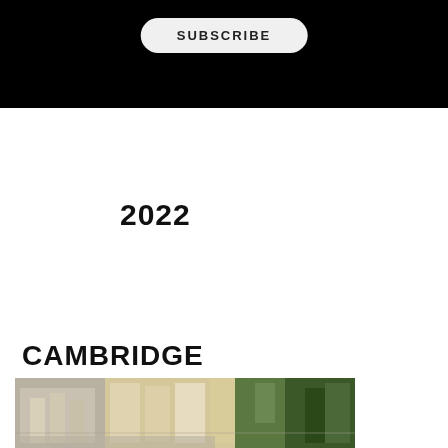[Figure (other): Black banner with a SUBSCRIBE button (rounded pill shape) centered on it]
2022
CAMBRIDGE
[Figure (photo): Photograph of Cambridge university buildings with gothic architecture and trees]